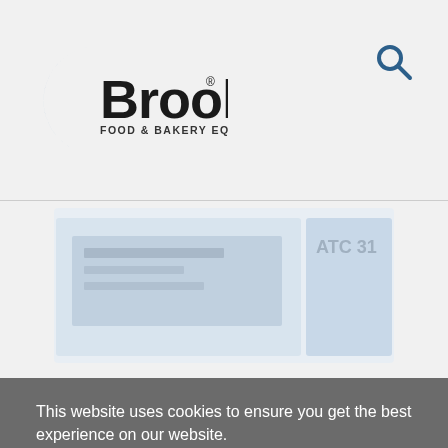Brook Food & Bakery Equipment
[Figure (logo): Brook Food & Bakery Equipment logo — blue arc on the left, bold 'Brook' text in black, 'FOOD & BAKERY EQUIPMENT' in smaller text below, registered trademark symbol]
[Figure (other): Search icon (magnifying glass) in dark blue in the upper right of the navigation bar]
[Figure (photo): Partially visible product image of a Markem Smartdate 31 Coder — light blue/grey background with equipment visible]
MARKEM SMARTDATE 31 CODER WITH
This website uses cookies to ensure you get the best experience on our website.
Learn more
Got it!